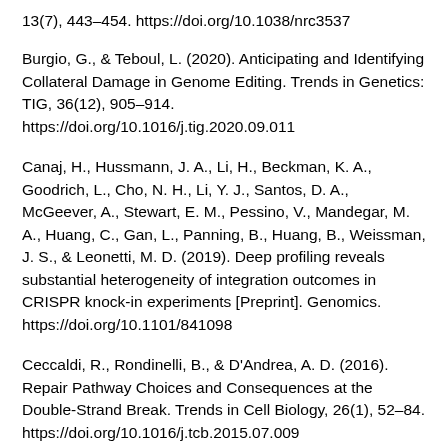13(7), 443–454. https://doi.org/10.1038/nrc3537
Burgio, G., & Teboul, L. (2020). Anticipating and Identifying Collateral Damage in Genome Editing. Trends in Genetics: TIG, 36(12), 905–914. https://doi.org/10.1016/j.tig.2020.09.011
Canaj, H., Hussmann, J. A., Li, H., Beckman, K. A., Goodrich, L., Cho, N. H., Li, Y. J., Santos, D. A., McGeever, A., Stewart, E. M., Pessino, V., Mandegar, M. A., Huang, C., Gan, L., Panning, B., Huang, B., Weissman, J. S., & Leonetti, M. D. (2019). Deep profiling reveals substantial heterogeneity of integration outcomes in CRISPR knock-in experiments [Preprint]. Genomics. https://doi.org/10.1101/841098
Ceccaldi, R., Rondinelli, B., & D'Andrea, A. D. (2016). Repair Pathway Choices and Consequences at the Double-Strand Break. Trends in Cell Biology, 26(1), 52–84. https://doi.org/10.1016/j.tcb.2015.07.009